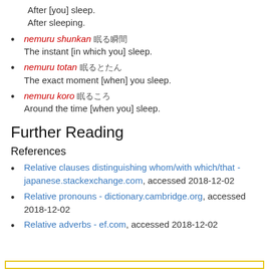After [you] sleep.
After sleeping.
nemuru shunkan 眠る瞬間 — The instant [in which you] sleep.
nemuru totan 眠るとたん — The exact moment [when] you sleep.
nemuru koro 眠るころ — Around the time [when you] sleep.
Further Reading
References
Relative clauses distinguishing whom/with which/that - japanese.stackexchange.com, accessed 2018-12-02
Relative pronouns - dictionary.cambridge.org, accessed 2018-12-02
Relative adverbs - ef.com, accessed 2018-12-02